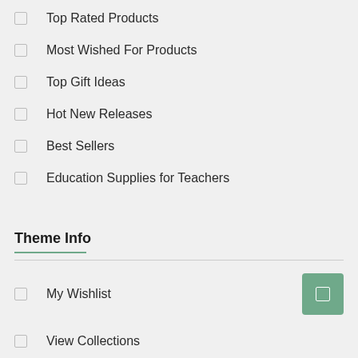Top Rated Products
Most Wished For Products
Top Gift Ideas
Hot New Releases
Best Sellers
Education Supplies for Teachers
Theme Info
My Wishlist
View Collections